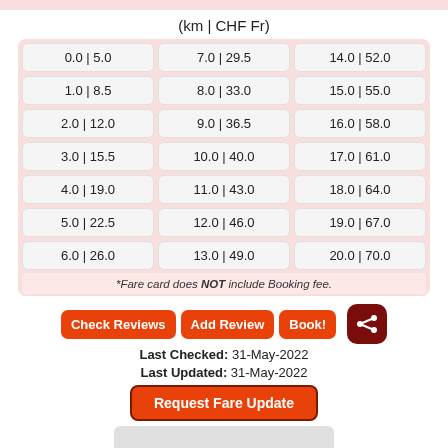(km | CHF Fr)
| 0.0 | 5.0 | 7.0 | 29.5 | 14.0 | 52.0 |
| 1.0 | 8.5 | 8.0 | 33.0 | 15.0 | 55.0 |
| 2.0 | 12.0 | 9.0 | 36.5 | 16.0 | 58.0 |
| 3.0 | 15.5 | 10.0 | 40.0 | 17.0 | 61.0 |
| 4.0 | 19.0 | 11.0 | 43.0 | 18.0 | 64.0 |
| 5.0 | 22.5 | 12.0 | 46.0 | 19.0 | 67.0 |
| 6.0 | 26.0 | 13.0 | 49.0 | 20.0 | 70.0 |
*Fare card does NOT include Booking fee.
Check Reviews | Add Review | Book!
Last Checked: 31-May-2022
Last Updated: 31-May-2022
Request Fare Update